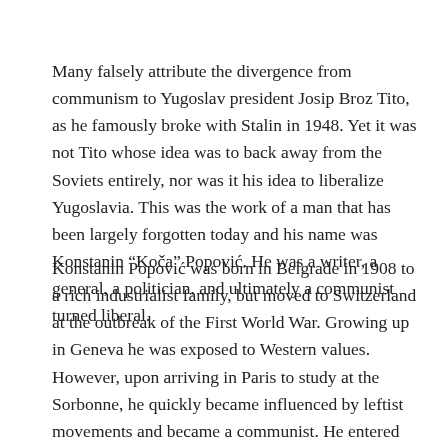Many falsely attribute the divergence from communism to Yugoslav president Josip Broz Tito, as he famously broke with Stalin in 1948. Yet it was not Tito whose idea was to back away from the Soviets entirely, nor was it his idea to liberalize Yugoslavia. This was the work of a man that has been largely forgotten today and his name was Konstanin “Koča” Popović. He was a writer, a general, a politician, and ultimately a communist turned liberal.
Konstanin Popović was born in Belgrade in 1908 to a rich industrialist family, but moved to Switzerland at the outbreak of the First World War. Growing up in Geneva he was exposed to Western values. However, upon arriving in Paris to study at the Sorbonne, he quickly became influenced by leftist movements and became a communist. He entered the Spanish Civil War as a volunteer and as a skilled artillery commander he was put into the Republican Army itself, not the volunteer International